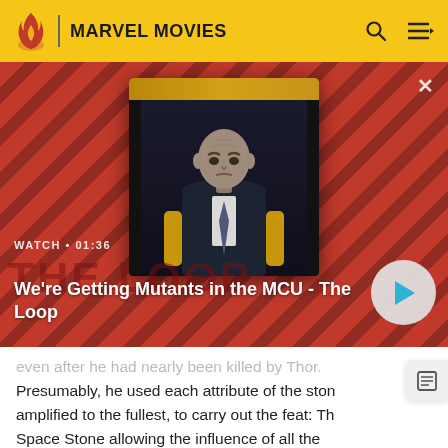MARVEL MOVIES
[Figure (screenshot): Video thumbnail showing a bald man in a suit seated in a chair, against a diagonal red-stripe background with 'THE LOOP' watermark. Watch • 01:36 label above title. Play button on right.]
We're Getting Mutants in the MCU - The Loop
even after he had nearly been killed by Thor. Presumably, he used each attribute of the stone amplified to the fullest, to carry out the feat: The Space Stone allowing the influence of all the other stones to reach the entire universe, the Power Stone projecting the power in the form of